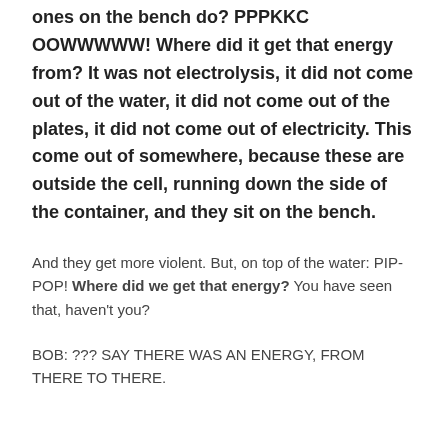ones on the bench do? PPPKKC OOWWWWW! Where did it get that energy from? It was not electrolysis, it did not come out of the water, it did not come out of the plates, it did not come out of electricity. This come out of somewhere, because these are outside the cell, running down the side of the container, and they sit on the bench.
And they get more violent. But, on top of the water: PIP-POP! Where did we get that energy? You have seen that, haven't you?
BOB: ??? SAY THERE WAS AN ENERGY, FROM THERE TO THERE.